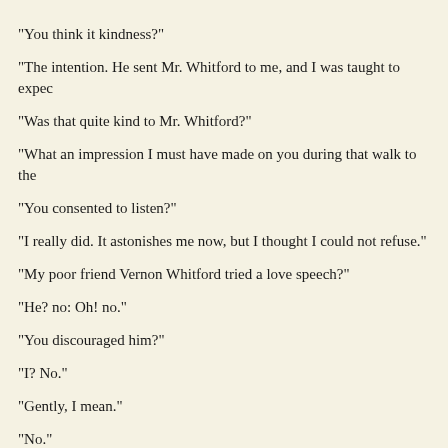"You think it kindness?"
"The intention. He sent Mr. Whitford to me, and I was taught to expec
"Was that quite kind to Mr. Whitford?"
"What an impression I must have made on you during that walk to the
"You consented to listen?"
"I really did. It astonishes me now, but I thought I could not refuse."
"My poor friend Vernon Whitford tried a love speech?"
"He? no: Oh! no."
"You discouraged him?"
"I? No."
"Gently, I mean."
"No."
"Surely you did not dream of trifling? He has a deep heart."
"Has he?"
"You ask that: and you know something of him."